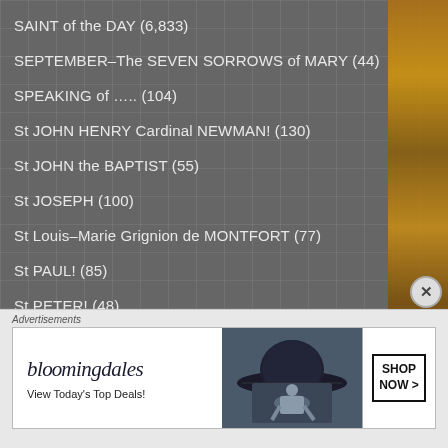SAINT of the DAY (6,833)
SEPTEMBER–The SEVEN SORROWS of MARY (44)
SPEAKING of ….. (104)
St JOHN HENRY Cardinal NEWMAN! (130)
St JOHN the BAPTIST (55)
St JOSEPH (100)
St Louis–Marie Grignion de MONTFORT (77)
St PAUL! (85)
St PETER! (48)
STATIONS of the CROSS (24)
SUNDAY REFLECTIONS (111)
[Figure (infographic): Bloomingdale's advertisement banner with model wearing a wide-brim hat, tagline 'View Today's Top Deals!', and a 'SHOP NOW >' button. Labeled 'Advertisements' above.]